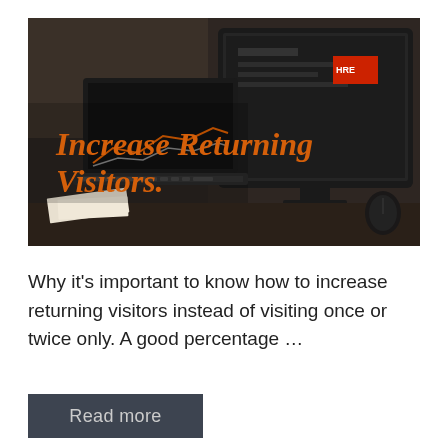[Figure (photo): Dark moody photo of laptops and a large monitor on a desk, with orange bold italic text overlay reading 'Increase Returning Visitors.']
Why it's important to know how to increase returning visitors instead of visiting once or twice only. A good percentage …
Read more